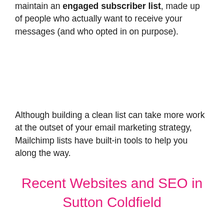maintain an engaged subscriber list, made up of people who actually want to receive your messages (and who opted in on purpose).
Although building a clean list can take more work at the outset of your email marketing strategy, Mailchimp lists have built-in tools to help you along the way.
Recent Websites and SEO in Sutton Coldfield